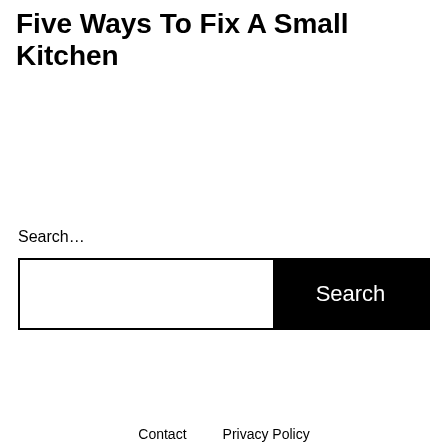Five Ways To Fix A Small Kitchen
Search…
Contact    Privacy Policy